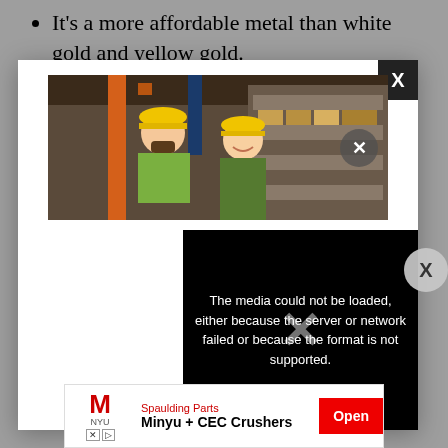It's a more affordable metal than white gold and yellow gold.
[Figure (screenshot): A modal popup dialog showing a warehouse scene photo with two workers in yellow hard hats, an X close button in the top-right corner of the modal, and a black error panel reading 'The media could not be loaded, either because the server or network failed or because the format is not supported.']
[Figure (screenshot): Advertisement banner for Spaulding Parts - Minyu + CEC Crushers with red Open button, M logo and NYU branding, with X and play badges]